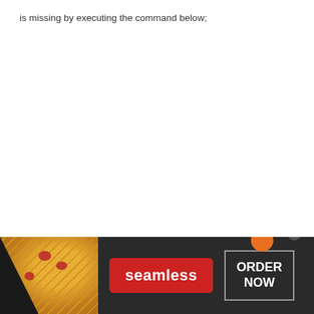is missing by executing the command below;
[Figure (screenshot): Seamless food delivery advertisement banner showing pizza slices on the left, a red 'seamless' button in the center, and an 'ORDER NOW' button on the right on a dark background.]